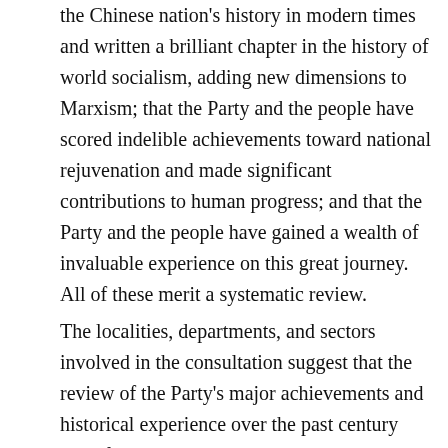the Chinese nation's history in modern times and written a brilliant chapter in the history of world socialism, adding new dimensions to Marxism; that the Party and the people have scored indelible achievements toward national rejuvenation and made significant contributions to human progress; and that the Party and the people have gained a wealth of invaluable experience on this great journey. All of these merit a systematic review. The localities, departments, and sectors involved in the consultation suggest that the review of the Party's major achievements and historical experience over the past century must focus on the new era and on the historic achievements and the historic shifts in the cause of the Party and the country, and the latest experience that the Party has gained during this period. Under the planning of the Central Committee, the drafting